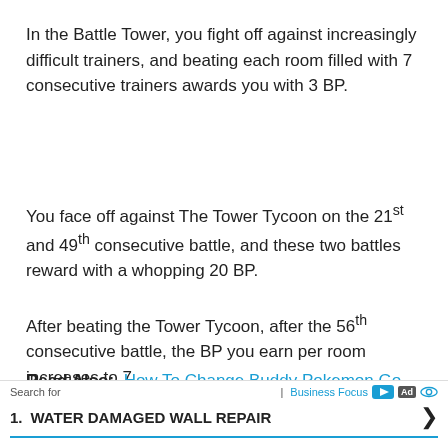In the Battle Tower, you fight off against increasingly difficult trainers, and beating each room filled with 7 consecutive trainers awards you with 3 BP.
You face off against The Tower Tycoon on the 21st and 49th consecutive battle, and these two battles reward with a whopping 20 BP.
After beating the Tower Tycoon, after the 56th consecutive battle, the BP you earn per room increases to 7.
Read Also:  How To Change Buddy Pokemon Go
Pokemon Sword And Shield
Search for | Business Focus [Ad] 1. WATER DAMAGED WALL REPAIR